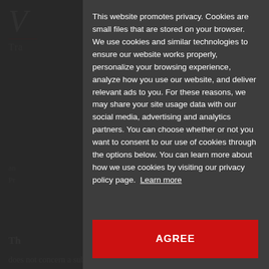[Figure (logo): Stylized V logo with red underline and 'Tra' text below, white on dark background]
Th
Be
Al
ha
ina
int
the
pa
pu
This website promotes privacy. Cookies are small files that are stored on your browser. We use cookies and similar technologies to ensure our website works properly, personalize your browsing experience, analyze how you use our website, and deliver relevant ads to you. For these reasons, we may share your site usage data with our social media, advertising and analytics partners. You can choose whether or not you want to consent to our use of cookies through the options below. You can learn more about how we use cookies by visiting our privacy policy page. Learn more
AGREE
does not concern a substantial (either in terms of